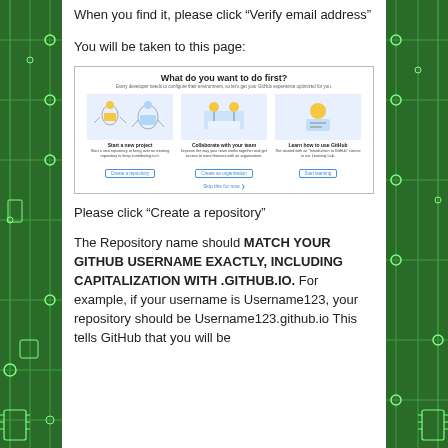When you find it, please click “Verify email address”
You will be taken to this page:
[Figure (screenshot): Screenshot of GitHub onboarding page titled 'What do you want to do first?' with three options: Start a new project (Create a repository), Collaborate with your team (Create an organization), and Learn how to use GitHub (Start learning). A 'Skip this for now' link is at the bottom.]
Please click “Create a repository”
The Repository name should MATCH YOUR GITHUB USERNAME EXACTLY, INCLUDING CAPITALIZATION WITH .GITHUB.IO.  For example, if your username is Username123, your repository should be Username123.github.io  This tells GitHub that you will be